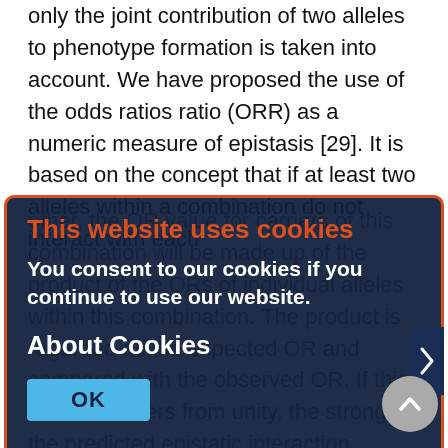only the joint contribution of two alleles to phenotype formation is taken into account. We have proposed the use of the odds ratios ratio (ORR) as a numeric measure of epistasis [29]. It is based on the concept that if at least two alleles within a combination do not interact with each other, the OR value for carriers of this combination will be made up of the product of the ORs of individual alleles within this combination. The product is regarded as the expected OR and compared with the observed OR. If this OR ratio differs from unity, the stronger the predicted epistatic interaction between the genes. The ORR value [29] can be used to analyze the interaction between two or more alleles. However, the 62 | ACTA NATURAE | VOL. 4 № 3 (14) 2012 REVIEWS absence of a method to assess the confidence interval (CI) is a
[Figure (screenshot): Cookie consent overlay with dark navy background and orange border. Title 'This website uses cookies' in orange. Body text 'You consent to our cookies if you continue to use our website.' in white bold. 'About Cookies' in white bold. Blue 'OK' button. Right arrow chevron on right edge. Overlaid on dimmed scientific article text.]
[Figure (other): Grey circular scroll-to-top button with upward arrow, bottom right corner.]